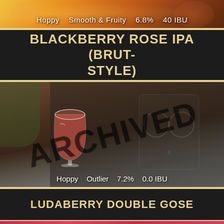[Figure (photo): Partial top photo of a beer with orange/amber floral background]
Hoppy    Smooth & Fruity    6.8%    40 IBU
BLACKBERRY ROSE IPA (BRUT-STYLE)
[Figure (photo): Person wearing a dark t-shirt, back facing camera, holding a snifter glass of pink/red beer. ARCHIVED text overlaid diagonally.]
Hoppy    Outlier    7.2%    0.0 IBU
LUDABERRY DOUBLE GOSE
[Figure (photo): Partial bottom photo showing a pink/red beer bottle]